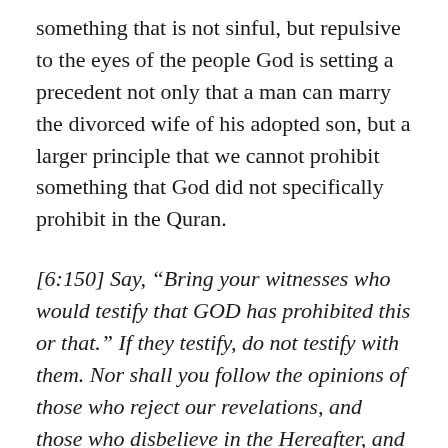something that is not sinful, but repulsive to the eyes of the people God is setting a precedent not only that a man can marry the divorced wife of his adopted son, but a larger principle that we cannot prohibit something that God did not specifically prohibit in the Quran.
[6:150] Say, “Bring your witnesses who would testify that GOD has prohibited this or that.” If they testify, do not testify with them. Nor shall you follow the opinions of those who reject our revelations, and those who disbelieve in the Hereafter, and those who stray away from their